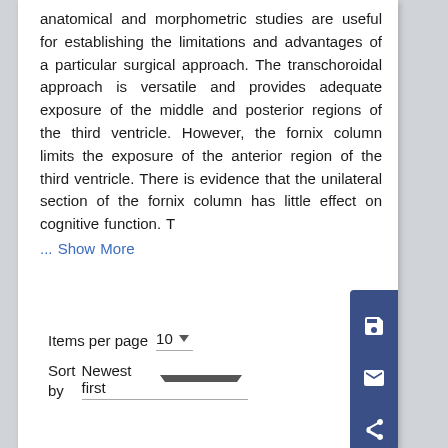anatomical and morphometric studies are useful for establishing the limitations and advantages of a particular surgical approach. The transchoroidal approach is versatile and provides adequate exposure of the middle and posterior regions of the third ventricle. However, the fornix column limits the exposure of the anterior region of the third ventricle. There is evidence that the unilateral section of the fornix column has little effect on cognitive function. T
... Show More
Items per page 10
Sort by Newest first